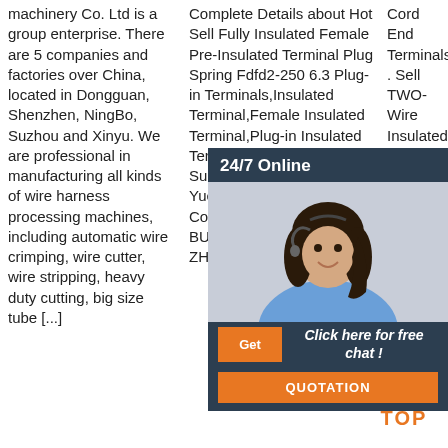machinery Co. Ltd is a group enterprise. There are 5 companies and factories over China, located in Dongguan, Shenzhen, NingBo, Suzhou and Xinyu. We are professional in manufacturing all kinds of wire harness processing machines, including automatic wire crimping, wire cutter, wire stripping, heavy duty cutting, big size tube [...]
Complete Details about Hot Sell Fully Insulated Female Pre-Insulated Terminal Plug Spring Fdfd2-250 6.3 Plug-in Terminals,Insulated Terminal,Female Insulated Terminal,Plug-in Insulated Terminal from Terminals Supplier or Manufacturer-Yueqing Chenf Electric Co.,ROOM 1101 BUILDING B NO.399 ZHONGREN ROAD,
Cord End Terminals . Sell TWO-Wire Insulated Cord End Terminals. Sell Insulated Female Disconnectable Insulated Terminals. Wire N
[Figure (photo): Chat widget with woman wearing headset, 24/7 Online label, 'Click here for free chat!' text, Get button, and QUOTATION button]
[Figure (other): TOP button with orange dot-triangle logo and orange TOP text]